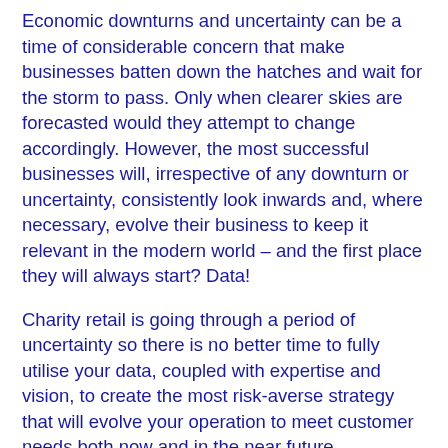Economic downturns and uncertainty can be a time of considerable concern that make businesses batten down the hatches and wait for the storm to pass. Only when clearer skies are forecasted would they attempt to change accordingly. However, the most successful businesses will, irrespective of any downturn or uncertainty, consistently look inwards and, where necessary, evolve their business to keep it relevant in the modern world – and the first place they will always start? Data!
Charity retail is going through a period of uncertainty so there is no better time to fully utilise your data, coupled with expertise and vision, to create the most risk-averse strategy that will evolve your operation to meet customer needs both now and in the near future.
The most valuable asset most businesses have is their